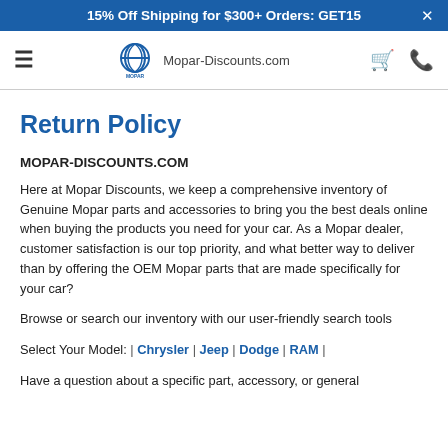15% Off Shipping for $300+ Orders: GET15
[Figure (logo): Mopar-Discounts.com navigation bar with hamburger menu, Mopar logo, site name, cart and phone icons]
Return Policy
MOPAR-DISCOUNTS.COM
Here at Mopar Discounts, we keep a comprehensive inventory of Genuine Mopar parts and accessories to bring you the best deals online when buying the products you need for your car. As a Mopar dealer, customer satisfaction is our top priority, and what better way to deliver than by offering the OEM Mopar parts that are made specifically for your car?
Browse or search our inventory with our user-friendly search tools
Select Your Model: | Chrysler | Jeep | Dodge | RAM |
Have a question about a specific part, accessory, or general